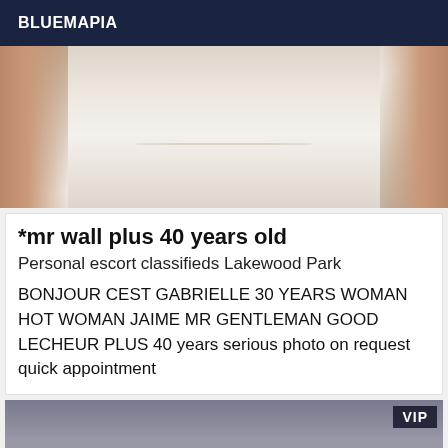BLUEMAPIA
[Figure (photo): Close-up photo of a person's torso/chest area in a white ribbed tank top, with hands visible on sides]
*mr wall plus 40 years old
Personal escort classifieds Lakewood Park
BONJOUR CEST GABRIELLE 30 YEARS WOMAN HOT WOMAN JAIME MR GENTLEMAN GOOD LECHEUR PLUS 40 years serious photo on request quick appointment
[Figure (photo): Blurred photo with VIP badge in upper right corner, partially visible figure at bottom]